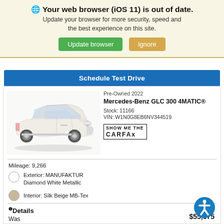🌐 Your web browser (iOS 11) is out of date. Update your browser for more security, speed and the best experience on this site. [Update browser] [Ignore]
Schedule Test Drive
[Figure (photo): White Mercedes-Benz GLC 300 4MATIC SUV side/front view]
Pre-Owned 2022
Mercedes-Benz GLC 300 4MATIC®
Stock: 11166
VIN: W1N0G8EB6NV344519
[Figure (logo): Show Me The CARFAX badge/logo]
Mileage: 9,266
Exterior: MANUFAKTUR Diamond White Metallic
Interior: Silk Beige MB-Tex
❶Details
Was    $55,075